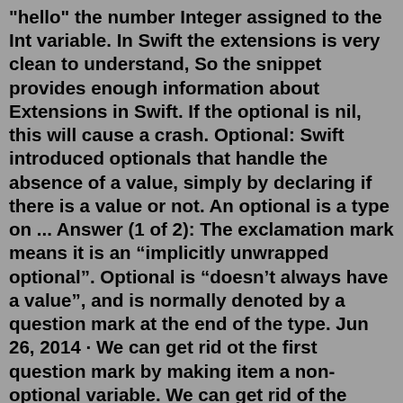"hello" the number Integer assigned to the Int variable. In Swift the extensions is very clean to understand, So the snippet provides enough information about Extensions in Swift. If the optional is nil, this will cause a crash. Optional: Swift introduced optionals that handle the absence of a value, simply by declaring if there is a value or not. An optional is a type on ... Answer (1 of 2): The exclamation mark means it is an “implicitly unwrapped optional”. Optional is “doesn’t always have a value”, and is normally denoted by a question mark at the end of the type. Jun 26, 2014 · We can get rid ot the first question mark by making item a non-optional variable. We can get rid of the second question mark by making the list property non-optional. Oct 23, 2021 · Conditional modifiers. It’s common to want modifiers that apply only when a certain condition is met, and in SwiftUI the easiest way to do that is with the ternary conditional operator. As a reminder, to use the ternary operator